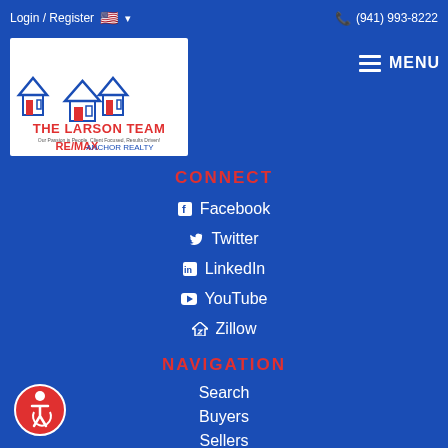Login / Register  🇺🇸 ▾   (941) 993-8222
[Figure (logo): The Larson Team RE/MAX Anchor Realty logo with house illustrations]
[Figure (other): MENU hamburger button]
CONNECT
Facebook
Twitter
LinkedIn
YouTube
Zillow
NAVIGATION
Search
Buyers
Sellers
Financing
About